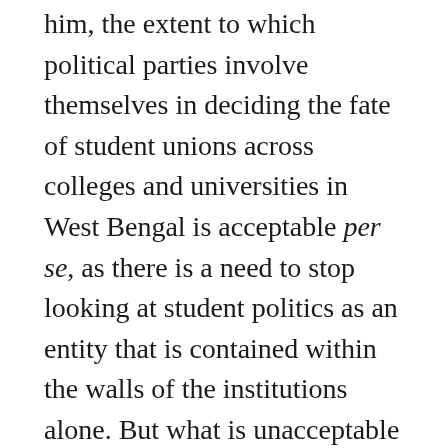him, the extent to which political parties involve themselves in deciding the fate of student unions across colleges and universities in West Bengal is acceptable per se, as there is a need to stop looking at student politics as an entity that is contained within the walls of the institutions alone. But what is unacceptable is the visible violence and narrow vote-garnering tactics that partisan politics brings into the ambit of educational institutions that is unacceptable.
Indeed, the incidents referred to above have all had direct supervision of ‘bigger’, mainstream politics, and cannot strictly be dubbed as reflections of the increase of violence within the